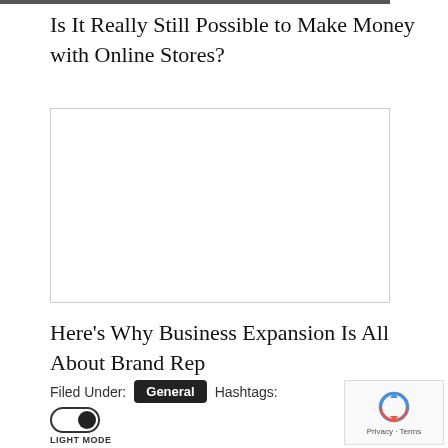Is It Really Still Possible to Make Money with Online Stores?
[Figure (other): Empty advertisement/embed box with light gray border]
Here's Why Business Expansion Is All About Brand Rep
Filed Under: General Hashtags:
[Figure (other): Light mode toggle switch in the on position]
[Figure (other): Google reCAPTCHA widget with spinning arrows logo and Privacy · Terms text]